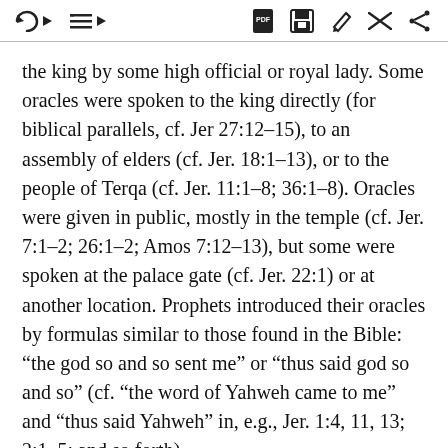[toolbar with navigation and action icons]
the king by some high official or royal lady. Some oracles were spoken to the king directly (for biblical parallels, cf. Jer 27:12–15), to an assembly of elders (cf. Jer. 18:1–13), or to the people of Terqa (cf. Jer. 11:1–8; 36:1–8). Oracles were given in public, mostly in the temple (cf. Jer. 7:1–2; 26:1–2; Amos 7:12–13), but some were spoken at the palace gate (cf. Jer. 22:1) or at another location. Prophets introduced their oracles by formulas similar to those found in the Bible: “the god so and so sent me” or “thus said god so and so” (cf. “the word of Yahweh came to me” and “thus said Yahweh” in, e.g., Jer. 1:4, 11, 13; 2:1, 5; and so forth).
Other Mari texts, administrative documents for the